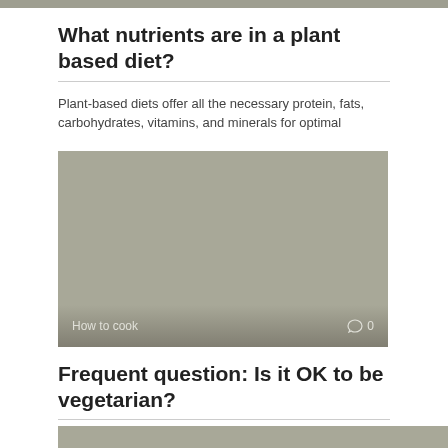What nutrients are in a plant based diet?
Plant-based diets offer all the necessary protein, fats, carbohydrates, vitamins, and minerals for optimal
[Figure (photo): Gray placeholder image with 'How to cook' label and comment icon showing 0 comments in the bottom overlay]
Frequent question: Is it OK to be vegetarian?
Vegetarian and vegan diets can be healthy, but they can lack certain nutrients. You
[Figure (photo): Gray placeholder image at bottom, partially visible]